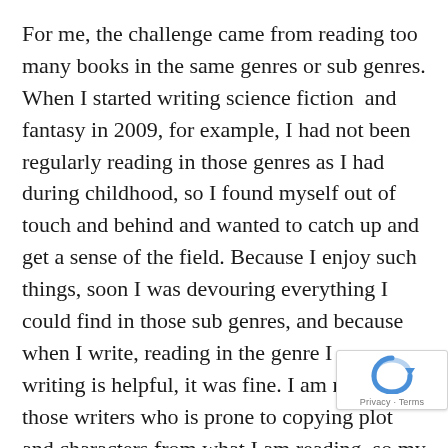For me, the challenge came from reading too many books in the same genres or sub genres. When I started writing science fiction  and fantasy in 2009, for example, I had not been regularly reading in those genres as I had during childhood, so I found myself out of touch and behind and wanted to catch up and get a sense of the field. Because I enjoy such things, soon I was devouring everything I could find in those sub genres, and because when I write, reading in the genre I am writing is helpful, it was fine. I am not one of those writers who is prone to copying plot and characters from what I am reading, so my stories were not negatively effected by reading in the same genre I write. Instead, I was inspired and reading helped me cre feel I wanted. When I wrote my Saga of Davi Rhii I wanted them to feel like Star Wars: A New Hope, so I